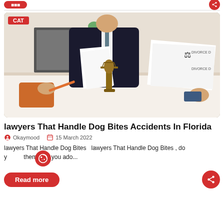[Figure (photo): Legal consultation scene: lawyer in dark suit holding papers, Lady Justice statue on desk, divorce documents visible, client hands with pen in foreground. CAT badge overlay top-left.]
lawyers That Handle Dog Bites Accidents In Florida
Okaymood   15 March 2022
lawyers That Handle Dog Bites  lawyers That Handle Dog Bites , do you  them? Do you ado...
Read more